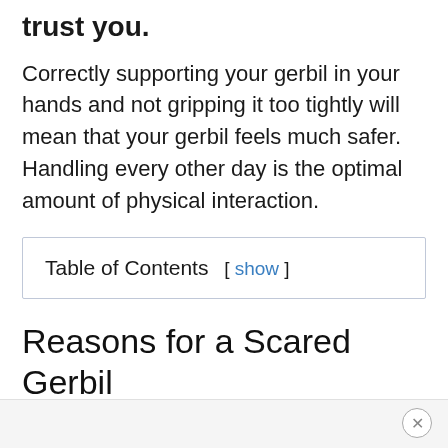trust you.
Correctly supporting your gerbil in your hands and not gripping it too tightly will mean that your gerbil feels much safer. Handling every other day is the optimal amount of physical interaction.
| Table of Contents  [ show ] |
Reasons for a Scared Gerbil